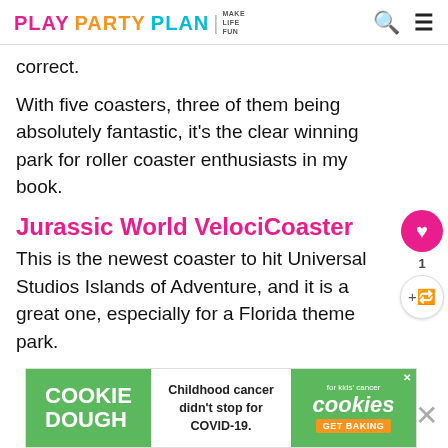PLAY PARTY PLAN | MAKE LIFE FUN
correct.
With five coasters, three of them being absolutely fantastic, it's the clear winning park for roller coaster enthusiasts in my book.
Jurassic World VelociCoaster
This is the newest coaster to hit Universal Studios Islands of Adventure, and it is a great one, especially for a Florida theme park.
[Figure (other): Ad banner: COOKIE DOUGH - Childhood cancer didn't stop for COVID-19. cookies for kids cancer GET BAKING]